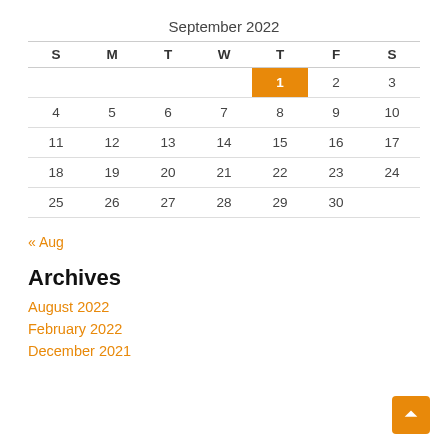September 2022
| S | M | T | W | T | F | S |
| --- | --- | --- | --- | --- | --- | --- |
|  |  |  |  | 1 | 2 | 3 |
| 4 | 5 | 6 | 7 | 8 | 9 | 10 |
| 11 | 12 | 13 | 14 | 15 | 16 | 17 |
| 18 | 19 | 20 | 21 | 22 | 23 | 24 |
| 25 | 26 | 27 | 28 | 29 | 30 |  |
« Aug
Archives
August 2022
February 2022
December 2021